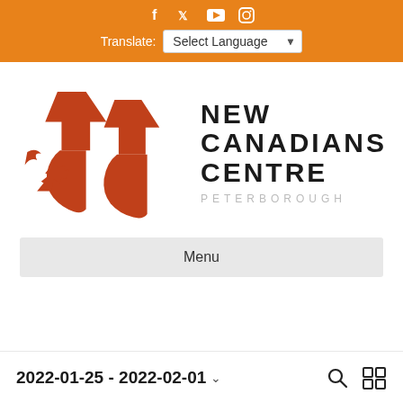Social icons: f, twitter, youtube, instagram | Translate: Select Language
[Figure (logo): New Canadians Centre Peterborough logo — two red silhouetted face profiles with a maple leaf and bird, beside the text NEW CANADIANS CENTRE PETERBOROUGH]
Menu
2022-01-25 - 2022-02-01 ⌄  🔍  ☰